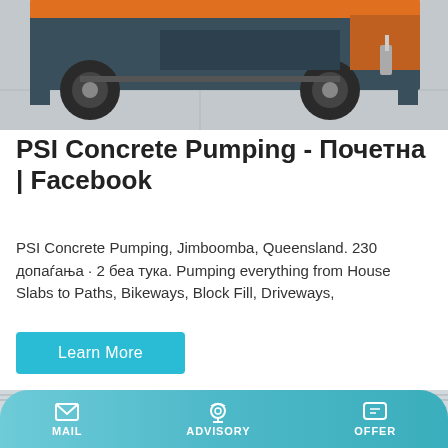[Figure (photo): Photo of a concrete pumping machine (orange and dark teal/grey) on a concrete floor, showing the chassis, wheels, and mechanical components from ground level.]
PSI Concrete Pumping - Почетна | Facebook
PSI Concrete Pumping, Jimboomba, Queensland. 230 допаѓања · 2 беа тука. Pumping everything from House Slabs to Paths, Bikeways, Block Fill, Driveways,
Learn More
[Figure (photo): Photo of a yellow concrete pump machine inside an industrial warehouse or shed with metal roof structure visible.]
MAIL   ADVISORY   OFFER